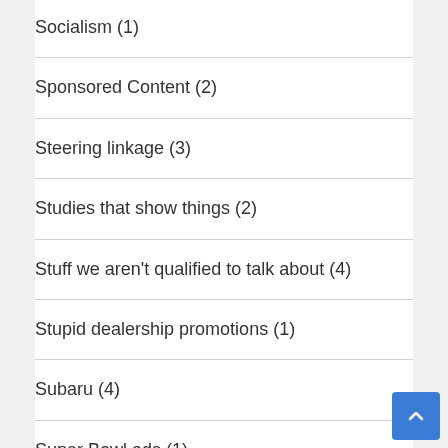Socialism (1)
Sponsored Content (2)
Steering linkage (3)
Studies that show things (2)
Stuff we aren't qualified to talk about (4)
Stupid dealership promotions (1)
Subaru (4)
Super Bowl ads (1)
Suzuki (2)